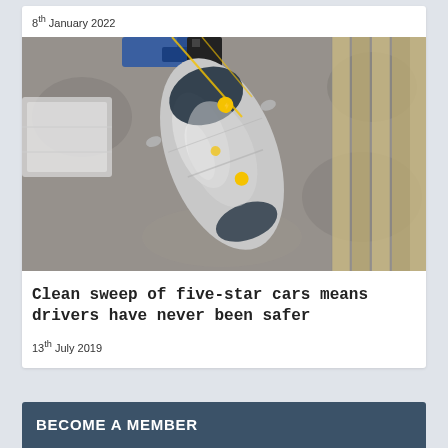8th January 2022
[Figure (photo): Overhead aerial view of a silver car undergoing a crash test, with test equipment visible, shot from above on a concrete floor with wooden planks.]
Clean sweep of five-star cars means drivers have never been safer
13th July 2019
BECOME A MEMBER